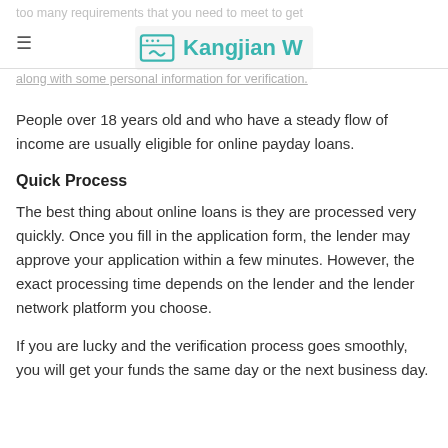too many requirements that you need to meet to get approval. You need to have a stable income source along with some personal information for verification.
Kangjian W
People over 18 years old and who have a steady flow of income are usually eligible for online payday loans.
Quick Process
The best thing about online loans is they are processed very quickly. Once you fill in the application form, the lender may approve your application within a few minutes. However, the exact processing time depends on the lender and the lender network platform you choose.
If you are lucky and the verification process goes smoothly, you will get your funds the same day or the next business day.